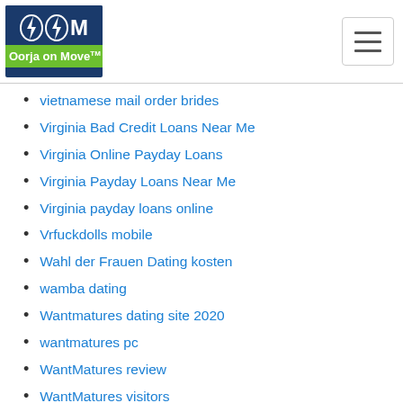Oorja on Move
vietnamese mail order brides
Virginia Bad Credit Loans Near Me
Virginia Online Payday Loans
Virginia Payday Loans Near Me
Virginia payday loans online
Vrfuckdolls mobile
Wahl der Frauen Dating kosten
wamba dating
Wantmatures dating site 2020
wantmatures pc
WantMatures review
WantMatures visitors
wapa review
Wapa reviews
Waplog bewertung
waplog.com profiles